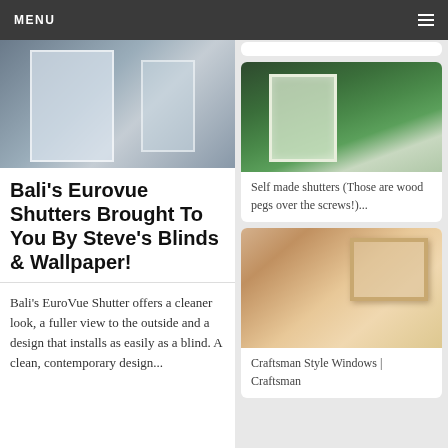MENU
[Figure (photo): Person opening window shutters — indoor shot with white shutters and curtains]
Bali's Eurovue Shutters Brought To You By Steve's Blinds & Wallpaper!
Bali's EuroVue Shutter offers a cleaner look, a fuller view to the outside and a design that installs as easily as a blind. A clean, contemporary design...
[Figure (photo): Green exterior shutters on a white window of a house with dark green siding]
Self made shutters (Those are wood pegs over the screws!)...
[Figure (photo): Craftsman style unpainted wood window trim and surround]
Craftsman Style Windows | Craftsman